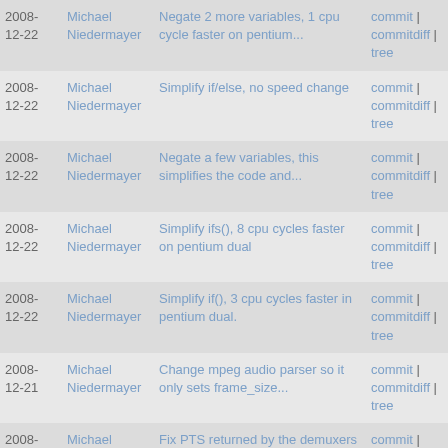| Date | Author | Message | Links |
| --- | --- | --- | --- |
| 2008-12-22 | Michael Niedermayer | Negate 2 more variables, 1 cpu cycle faster on pentium... | commit | commitdiff | tree |
| 2008-12-22 | Michael Niedermayer | Simplify if/else, no speed change | commit | commitdiff | tree |
| 2008-12-22 | Michael Niedermayer | Negate a few variables, this simplifies the code and... | commit | commitdiff | tree |
| 2008-12-22 | Michael Niedermayer | Simplify ifs(), 8 cpu cycles faster on pentium dual | commit | commitdiff | tree |
| 2008-12-22 | Michael Niedermayer | Simplify if(), 3 cpu cycles faster in pentium dual. | commit | commitdiff | tree |
| 2008-12-21 | Michael Niedermayer | Change mpeg audio parser so it only sets frame_size... | commit | commitdiff | tree |
| 2008-12-21 | Michael Niedermayer | Fix PTS returned by the demuxers for mpeg4 without... | commit | commitdiff | tree |